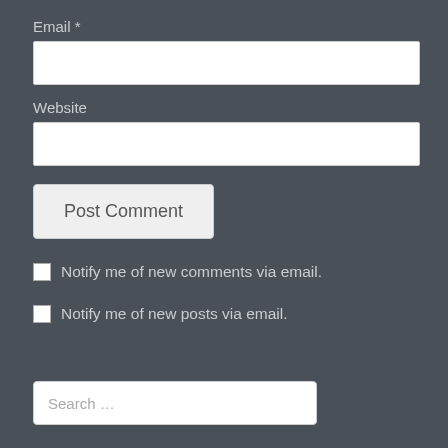Email *
[Figure (other): Empty text input field for Email]
Website
[Figure (other): Empty text input field for Website]
[Figure (other): Post Comment button]
Notify me of new comments via email.
Notify me of new posts via email.
[Figure (other): Search input field with placeholder text 'Search ...']